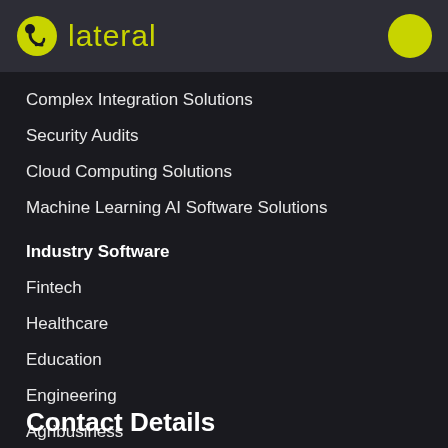lateral
Complex Integration Solutions
Security Audits
Cloud Computing Solutions
Machine Learning AI Software Solutions
Industry Software
Fintech
Healthcare
Education
Engineering
Agribusiness
Contact Details